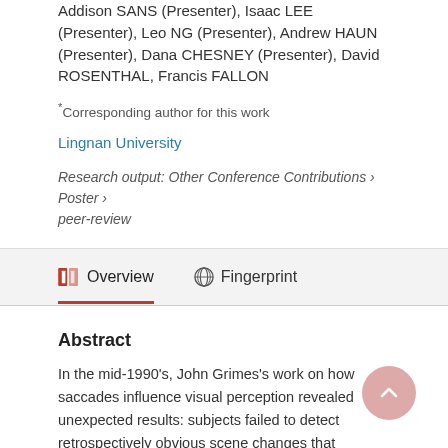Addison SANS (Presenter), Isaac LEE (Presenter), Leo NG (Presenter), Andrew HAUN (Presenter), Dana CHESNEY (Presenter), David ROSENTHAL, Francis FALLON
*Corresponding author for this work
Lingnan University
Research output: Other Conference Contributions › Poster › peer-review
Overview
Fingerprint
Abstract
In the mid-1990's, John Grimes's work on how saccades influence visual perception revealed unexpected results: subjects failed to detect retrospectively obvious scene changes that occurred during saccades, despite having fixated before and after on the changed stimulus (Grimes, 1996). Since his original work,